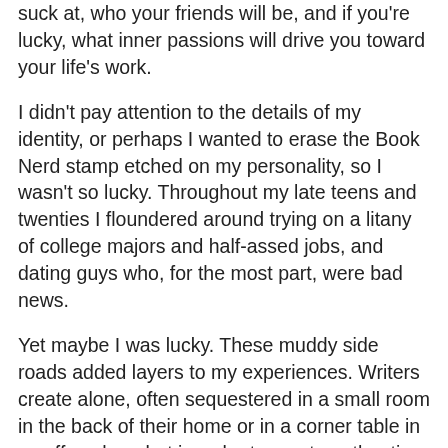suck at, who your friends will be, and if you're lucky, what inner passions will drive you toward your life's work.
I didn't pay attention to the details of my identity, or perhaps I wanted to erase the Book Nerd stamp etched on my personality, so I wasn't so lucky. Throughout my late teens and twenties I floundered around trying on a litany of college majors and half-assed jobs, and dating guys who, for the most part, were bad news.
Yet maybe I was lucky. These muddy side roads added layers to my experiences. Writers create alone, often sequestered in a small room in the back of their home or in a corner table in a coffee shop, but in order to create authentic work, writers also need experiences. We need to talk to people, work with our hands, know how it feels when someone breaks your heart.
In the late 80s, after finally earning my Bachelor's degree with enough credit hours to have a PhD, I started writing. I wrote bad stories, wretched poems, and a really terrible novel. Most of that work is hidden in a file drawer. While my